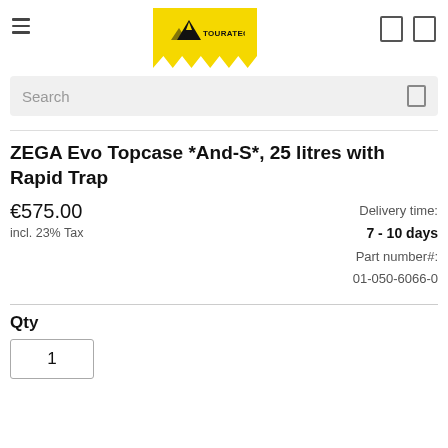[Figure (logo): Touratech logo — black mountain/arrow icon with TOURATECH text on yellow zigzag-bottom banner]
Search
ZEGA Evo Topcase *And-S*, 25 litres with Rapid Trap
€575.00
incl. 23% Tax
Delivery time:
7 - 10 days
Part number#:
01-050-6066-0
Qty
1